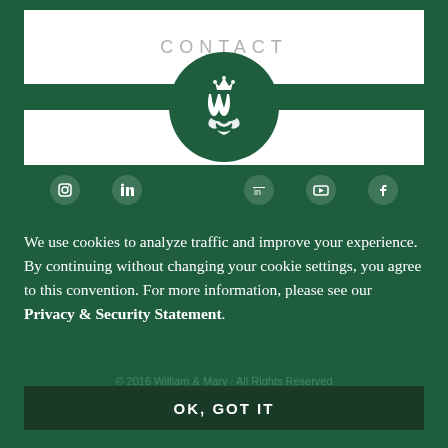CONTACT
[Figure (logo): William & Mary royal cypher monogram logo in white on dark green circle]
We use cookies to analyze traffic and improve your experience. By continuing without changing your cookie settings, you agree to this convention. For more information, please see our Privacy & Security Statement.
© 2016 William & Mary · All Rights Reserved
OK, GOT IT